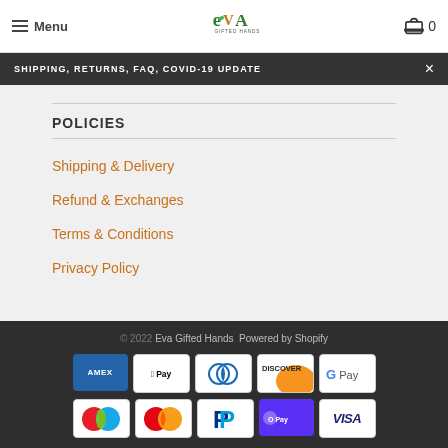Menu | EVA Gifted Hands | Cart 0
SHIPPING, RETURNS, FAQ, COVID-19 UPDATE
POLICIES
Shipping & Delivery
Refund & Exchanges
Terms & Conditions
Privacy Policy
© 2022 Eva Gifted Hands  Powered by Shopify
[Figure (other): Payment method icons: American Express, Apple Pay, Diners Club, Discover, Google Pay, Maestro/other, Mastercard, PayPal, Shop Pay, Visa]